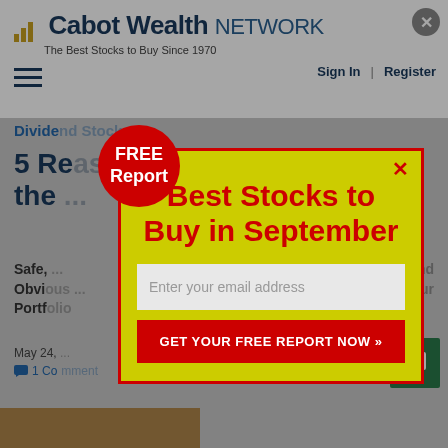Cabot Wealth NETWORK — The Best Stocks to Buy Since 1970
Dividend Stocks
5 Reasons ... for the ...
Safe, ... and Obvious ... Your Portfolio
May 24, ...
1 Comment
[Figure (screenshot): Modal popup overlay on Cabot Wealth Network website with FREE Report badge, title 'Best Stocks to Buy in September', email input field, and GET YOUR FREE REPORT NOW button]